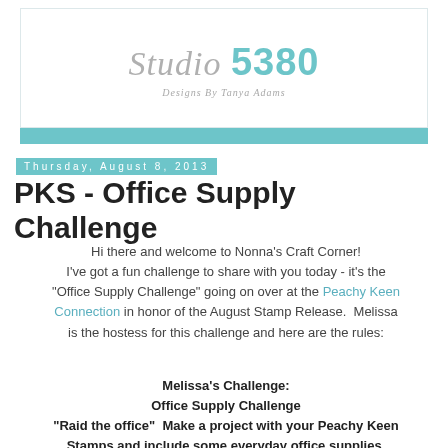[Figure (logo): Studio 5380 blog header with teal number and gray italic 'Studio' text, subtitle 'Designs By Tanya Adams', teal horizontal bar below]
Thursday, August 8, 2013
PKS - Office Supply Challenge
Hi there and welcome to Nonna's Craft Corner! I've got a fun challenge to share with you today - it's the "Office Supply Challenge" going on over at the Peachy Keen Connection in honor of the August Stamp Release. Melissa is the hostess for this challenge and here are the rules:
Melissa's Challenge:
Office Supply Challenge
"Raid the office" Make a project with your Peachy Keen Stamps and include some everyday office supplies.